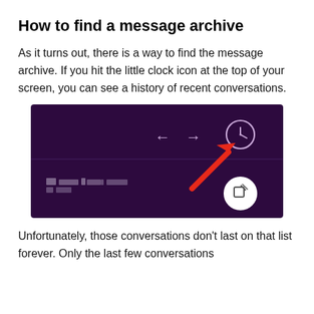How to find a message archive
As it turns out, there is a way to find the message archive. If you hit the little clock icon at the top of your screen, you can see a history of recent conversations.
[Figure (screenshot): A dark purple screenshot of a messaging interface showing navigation arrows (back and forward) and a clock icon in the upper right, with a red arrow pointing to the clock icon. A white circular button with a compose/edit icon is visible in the lower right. The bottom section shows blurred/pixelated text content on the dark purple background.]
Unfortunately, those conversations don't last on that list forever. Only the last few conversations